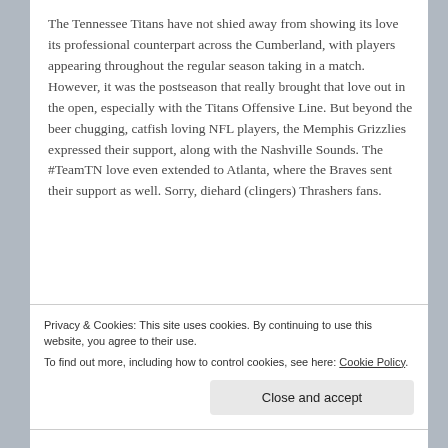The Tennessee Titans have not shied away from showing its love its professional counterpart across the Cumberland, with players appearing throughout the regular season taking in a match. However, it was the postseason that really brought that love out in the open, especially with the Titans Offensive Line. But beyond the beer chugging, catfish loving NFL players, the Memphis Grizzlies expressed their support, along with the Nashville Sounds. The #TeamTN love even extended to Atlanta, where the Braves sent their support as well. Sorry, diehard (clingers) Thrashers fans.
pic.twitter.com/d0S2SxiA7Q in case you didn't see the
Privacy & Cookies: This site uses cookies. By continuing to use this website, you agree to their use.
To find out more, including how to control cookies, see here: Cookie Policy